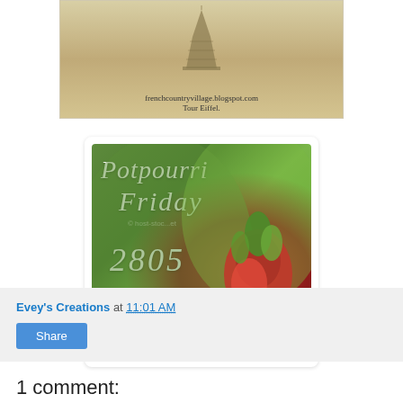[Figure (illustration): Vintage illustration of the Eiffel Tower (Tour Eiffel) with caption text 'frenchcountryvillage.blogspot.com Tour Eiffel.' on aged/sepia background]
[Figure (photo): Photo of red flower bud with green foliage background, overlaid with cursive white text reading 'Potpourri Friday 2805']
Evey's Creations at 11:01 AM
Share
1 comment: